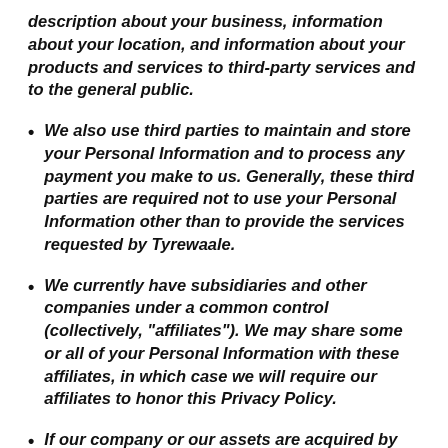description about your business, information about your location, and information about your products and services to third-party services and to the general public.
We also use third parties to maintain and store your Personal Information and to process any payment you make to us. Generally, these third parties are required not to use your Personal Information other than to provide the services requested by Tyrewaale.
We currently have subsidiaries and other companies under a common control (collectively, "affiliates"). We may share some or all of your Personal Information with these affiliates, in which case we will require our affiliates to honor this Privacy Policy.
If our company or our assets are acquired by